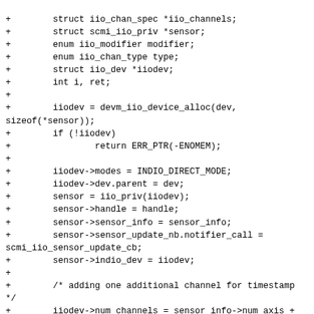[Figure (other): Source code diff snippet showing C kernel driver code with lines prefixed by '+' indicating additions. Code includes struct declarations, iiodev allocations, mode settings, sensor assignments, and channel setup.]